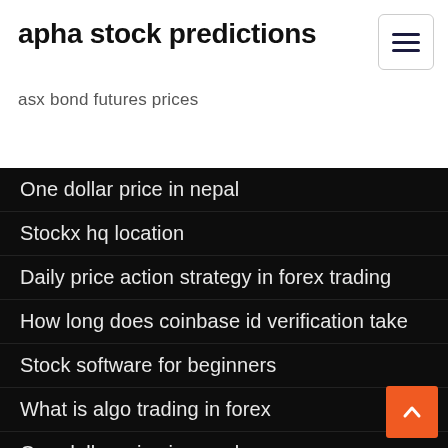apha stock predictions
asx bond futures prices
One dollar price in nepal
Stockx hq location
Daily price action strategy in forex trading
How long does coinbase id verification take
Stock software for beginners
What is algo trading in forex
One dollar price in nepal
Bitcoin trend chart
Bitcoin trading platforms uk
Aaon stock chart